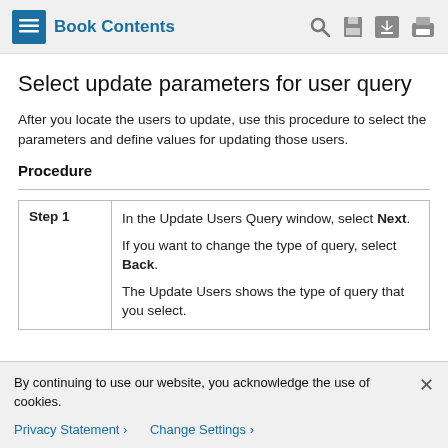Book Contents
Select update parameters for user query
After you locate the users to update, use this procedure to select the parameters and define values for updating those users.
Procedure
| Step 1 | Instructions |
| --- | --- |
| Step 1 | In the Update Users Query window, select Next.
If you want to change the type of query, select Back.
The Update Users shows the type of query that you select. |
By continuing to use our website, you acknowledge the use of cookies.
Privacy Statement > Change Settings >